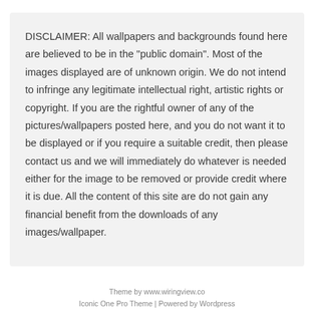DISCLAIMER: All wallpapers and backgrounds found here are believed to be in the "public domain". Most of the images displayed are of unknown origin. We do not intend to infringe any legitimate intellectual right, artistic rights or copyright. If you are the rightful owner of any of the pictures/wallpapers posted here, and you do not want it to be displayed or if you require a suitable credit, then please contact us and we will immediately do whatever is needed either for the image to be removed or provide credit where it is due. All the content of this site are do not gain any financial benefit from the downloads of any images/wallpaper.
Theme by www.wiringview.co
Iconic One Pro Theme | Powered by Wordpress